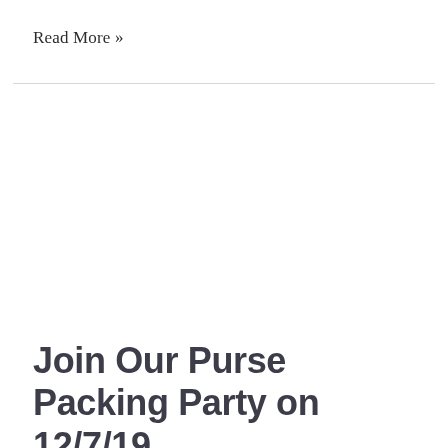Read More »
Join Our Purse Packing Party on 12/7/19